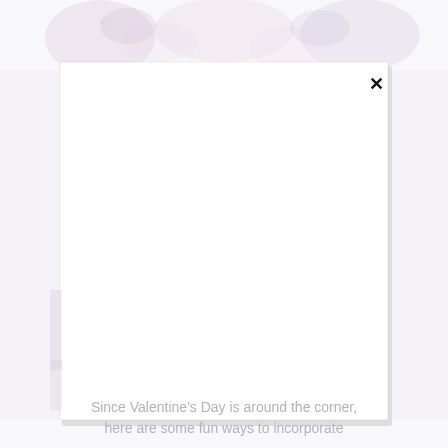[Figure (screenshot): A modal dialog box (white card with drop shadow and close X button) overlaid on a background with faint Valentine's Day themed imagery (pink/purple hues). The modal is mostly blank white content area. Below the modal is light gray caption text.]
Since Valentine's Day is around the corner, here are some fun ways to incorporate